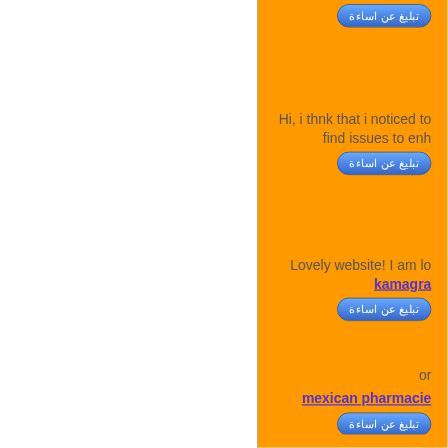تبليغ عن اساءة (button - card 1)
Hi, i thnk that i noticed ... to find issues to enh...
تبليغ عن اساءة (button - card 2)
Lovely website! I am lo... kamagra...
تبليغ عن اساءة (button - card 3)
or... mexican pharmacie...
تبليغ عن اساءة (button - card 4)